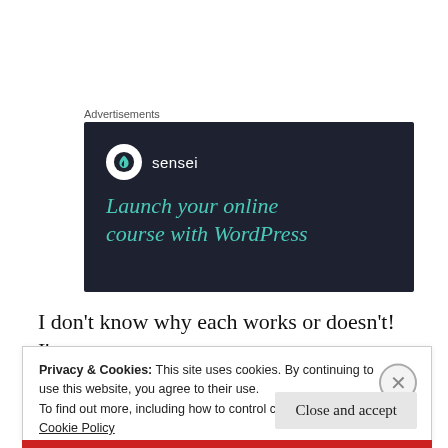Advertisements
[Figure (illustration): Sensei advertisement banner with dark navy background. Shows the Sensei logo (tree icon in white circle) and text 'Launch your online course with WordPress' in teal/green italic serif font.]
I don’t know why each works or doesn’t! I’m
Privacy & Cookies: This site uses cookies. By continuing to use this website, you agree to their use.
To find out more, including how to control cookies, see here:
Cookie Policy

Close and accept